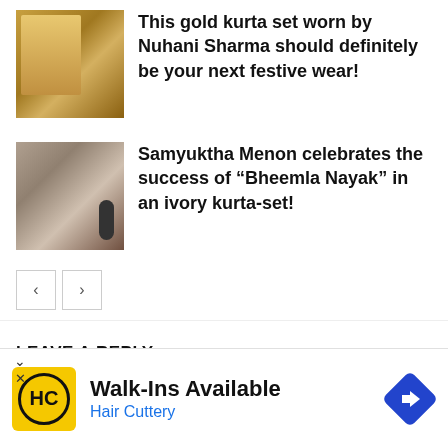[Figure (photo): Thumbnail photo of a woman in a gold kurta set]
This gold kurta set worn by Nuhani Sharma should definitely be your next festive wear!
[Figure (photo): Thumbnail photo of Samyuktha Menon holding a microphone at an event]
Samyuktha Menon celebrates the success of “Bheemla Nayak” in an ivory kurta-set!
< >
LEAVE A REPLY
ment:
[Figure (other): Advertisement banner: Walk-Ins Available - Hair Cuttery with HC logo and navigation arrow icon]